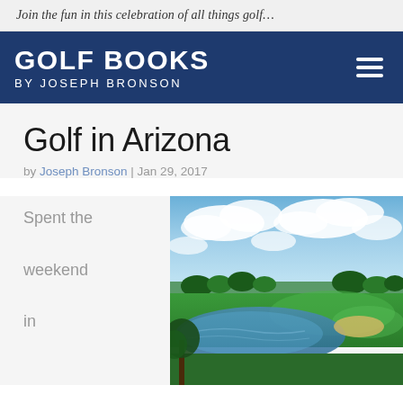Join the fun in this celebration of all things golf…
GOLF BOOKS BY JOSEPH BRONSON
Golf in Arizona
by Joseph Bronson | Jan 29, 2017
Spent the weekend in
[Figure (photo): Aerial view of a golf course in Arizona with water hazard, green fairways, and a dramatic sky with clouds]